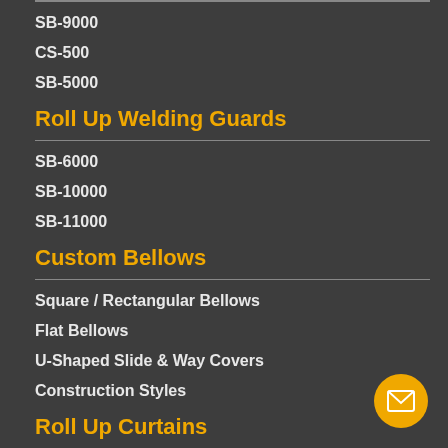SB-9000
CS-500
SB-5000
Roll Up Welding Guards
SB-6000
SB-10000
SB-11000
Custom Bellows
Square / Rectangular Bellows
Flat Bellows
U-Shaped Slide & Way Covers
Construction Styles
Roll Up Curtains